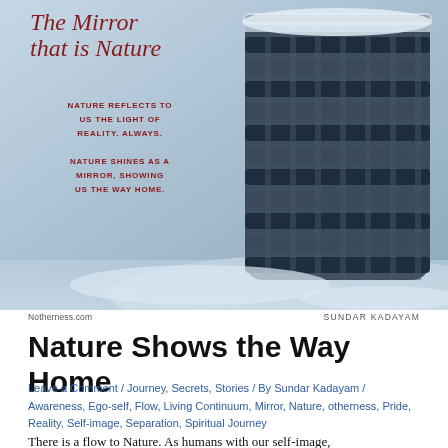[Figure (illustration): Book cover or article header image titled 'The Mirror that is Nature' with winter/snow imagery (tire tracks or woven basket in snow). Text on image: 'NATURE REFLECTS TO US THE LIGHT OF REALITY. ALWAYS.' and 'NATURE SHINES AS A MIRROR, SHOWING US THE WAY HOME.' in dark red on a blue-gray snowy background.]
Notherness.com    SUNDAR KADAYAM
Nature Shows the Way Home
Leave a Comment / Journey, Secrets, Stories / By Sundar Kadayam / Awareness, Ego-self, Flow, Living Continuum, Mirror, Nature, otherness, Pride, Reality, Self-image, Separation, Spiritual Journey
There is a flow to Nature. As humans with our self-image,